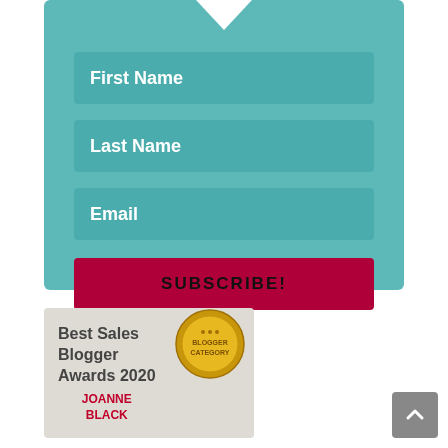[Figure (infographic): Email subscription form with teal background, notch/arrow pointing up at top, three input fields (First Name, Last Name, Email), and a dark red SUBSCRIBE! button]
[Figure (infographic): Best Sales Blogger Awards 2020 badge with gold 'Blogger Category' medal, showing Joanne Black as recipient]
[Figure (other): Gray back-to-top button with white upward chevron arrow in bottom right corner]